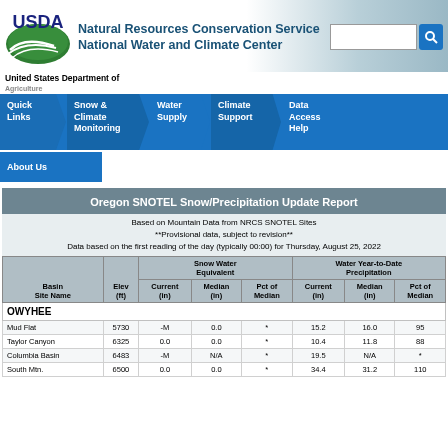[Figure (logo): USDA Natural Resources Conservation Service National Water and Climate Center header with logo and navigation]
Oregon SNOTEL Snow/Precipitation Update Report
Based on Mountain Data from NRCS SNOTEL Sites
**Provisional data, subject to revision**
Data based on the first reading of the day (typically 00:00) for Thursday, August 25, 2022
| Basin
Site Name | Elev
(ft) | Current
(in) | Median
(in) | Pct of
Median | Current
(in) | Median
(in) | Pct of
Median |
| --- | --- | --- | --- | --- | --- | --- | --- |
| OWYHEE |  |  |  |  |  |  |  |
| Mud Flat | 5730 | -M | 0.0 | * | 15.2 | 16.0 | 95 |
| Taylor Canyon | 6325 | 0.0 | 0.0 | * | 10.4 | 11.8 | 88 |
| Columbia Basin | 6483 | -M | N/A | * | 19.5 | N/A | * |
| South Mtn. | 6500 | 0.0 | 0.0 | * | 34.4 | 31.2 | 110 |